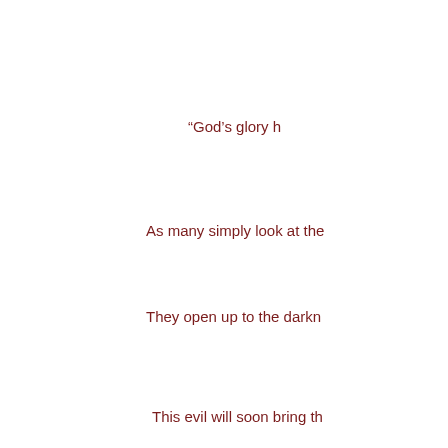“God’s glory h
As many simply look at the
They open up to the darkn
This evil will soon bring th